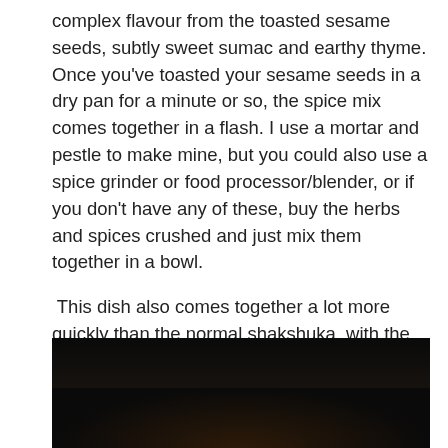complex flavour from the toasted sesame seeds, subtly sweet sumac and earthy thyme. Once you've toasted your sesame seeds in a dry pan for a minute or so, the spice mix comes together in a flash. I use a mortar and pestle to make mine, but you could also use a spice grinder or food processor/blender, or if you don't have any of these, buy the herbs and spices crushed and just mix them together in a bowl.

This dish also comes together a lot more quickly than the normal shakshuka, with the preparation and cooking taking less than half an hour from start to finish. A great (quick) way to start your next Sunday morning.
[Figure (photo): Dark photograph, mostly black, appears to show a dish being prepared or served, with very low light. Bottom portion of image partially visible.]